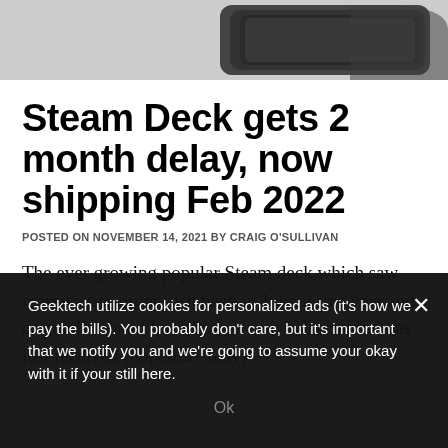[Figure (photo): Partial view of a dark Steam Deck handheld gaming device against a light gray background, showing the top portion of the device]
Steam Deck gets 2 month delay, now shipping Feb 2022
POSTED ON NOVEMBER 14, 2021 BY CRAIG O'SULLIVAN
The ever growing popular Steam deck which saw massive pre-order rush back in July of this year and originally slated for initial release in December has just received (hopefully only)
Geektech utilize cookies for personalized ads (it's how we pay the bills). You probably don't care, but it's important that we notify you and we're going to assume your okay with it if your still here.